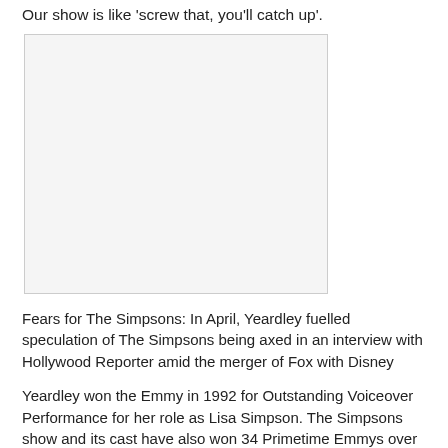Our show is like 'screw that, you'll catch up'.
[Figure (photo): Blank/white image placeholder with light border]
Fears for The Simpsons: In April, Yeardley fuelled speculation of The Simpsons being axed in an interview with Hollywood Reporter amid the merger of Fox with Disney
Yeardley won the Emmy in 1992 for Outstanding Voiceover Performance for her role as Lisa Simpson. The Simpsons show and its cast have also won 34 Primetime Emmys over the past 30 years.
In April, Yeardley fuelled speculation of The Simpsons being axed in an interview with Hollywood Reporter.
She said that she expected Disney to 'cancel' the show, rather than 'altering its legacy' while speculating what